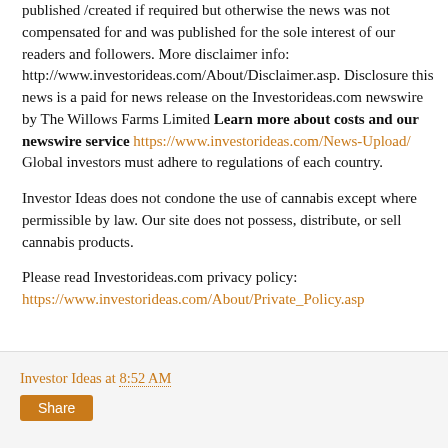published /created if required but otherwise the news was not compensated for and was published for the sole interest of our readers and followers. More disclaimer info: http://www.investorideas.com/About/Disclaimer.asp. Disclosure this news is a paid for news release on the Investorideas.com newswire by The Willows Farms Limited Learn more about costs and our newswire service https://www.investorideas.com/News-Upload/ Global investors must adhere to regulations of each country.
Investor Ideas does not condone the use of cannabis except where permissible by law. Our site does not possess, distribute, or sell cannabis products.
Please read Investorideas.com privacy policy: https://www.investorideas.com/About/Private_Policy.asp
Investor Ideas at 8:52 AM